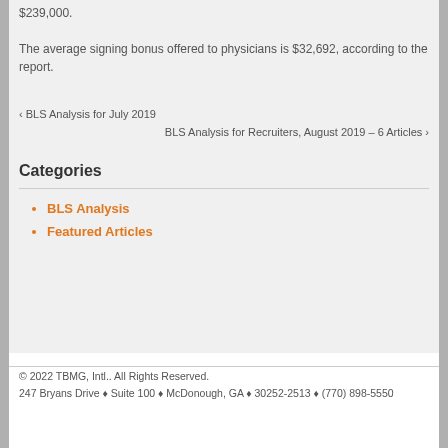$239,000.
The average signing bonus offered to physicians is $32,692, according to the report.
‹ BLS Analysis for July 2019
BLS Analysis for Recruiters, August 2019 – 6 Articles ›
Categories
BLS Analysis
Featured Articles
© 2022 TBMG, Intl.. All Rights Reserved.
247 Bryans Drive ♦ Suite 100 ♦ McDonough, GA ♦ 30252-2513 ♦ (770) 898-5550